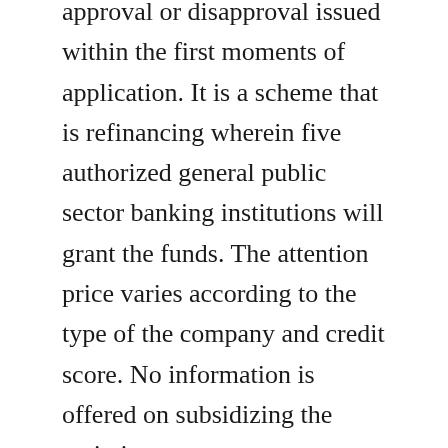approval or disapproval issued within the first moments of application. It is a scheme that is refinancing wherein five authorized general public sector banking institutions will grant the funds. The attention price varies according to the type of the company and credit score. No information is offered on subsidizing the main interest or amount subvention.
To try to get company loan under this scheme, you may need GST verifications, Income Tax verifications, banking account statements when it comes to final 6-months, ownership associated documents, and KYC details. Extra information on